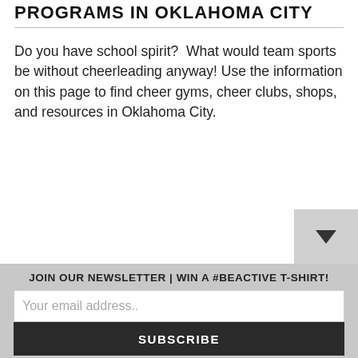PROGRAMS IN OKLAHOMA CITY
Do you have school spirit?  What would team sports be without cheerleading anyway! Use the information on this page to find cheer gyms, cheer clubs, shops, and resources in Oklahoma City.
JOIN OUR NEWSLETTER | WIN A #BEACTIVE T-SHIRT!
Your email address..
SUBSCRIBE